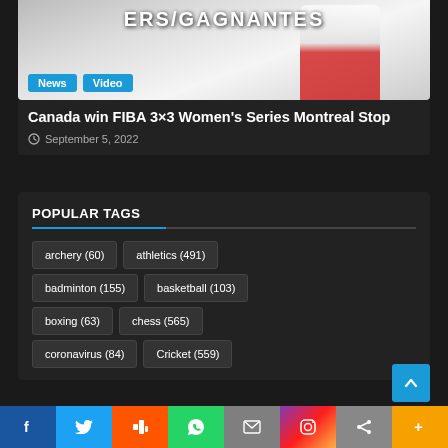[Figure (photo): Sports photo showing text WINNERS/GAGNANTES banner with person in red and white uniform. News and Video badge overlays.]
Canada win FIBA 3×3 Women's Series Montreal Stop
September 5, 2022
POPULAR TAGS
archery (60)
athletics (491)
badminton (155)
basketball (103)
boxing (63)
chess (565)
coronavirus (84)
Cricket (559)